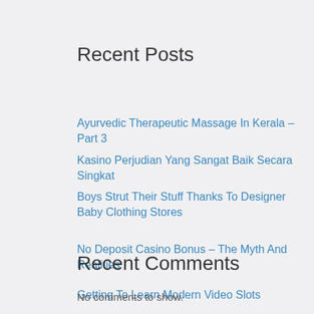Recent Posts
Ayurvedic Therapeutic Massage In Kerala – Part 3
Kasino Perjudian Yang Sangat Baik Secara Singkat
Boys Strut Their Stuff Thanks To Designer Baby Clothing Stores
No Deposit Casino Bonus – The Myth And Realities
Getting To Learn Modern Video Slots
Recent Comments
No comments to show.